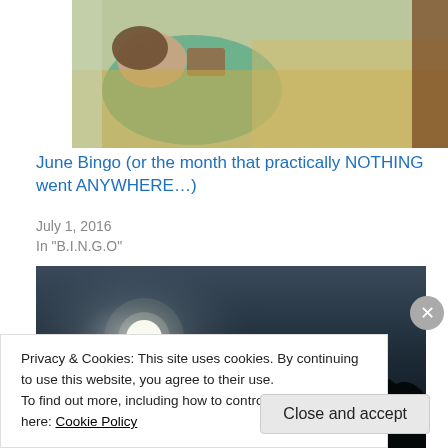[Figure (photo): Painting of a woman lying on a bed reading a book, with decorative bedding in yellows and browns, impressionist style.]
June Bingo (or the month that practically NOTHING went ANYWHERE…)
July 1, 2016
In "B.I.N.G.O"
[Figure (photo): Night landscape photograph showing a bright full moon in a dark blue-grey sky above a dark silhouette of trees.]
Privacy & Cookies: This site uses cookies. By continuing to use this website, you agree to their use.
To find out more, including how to control cookies, see here: Cookie Policy
Close and accept